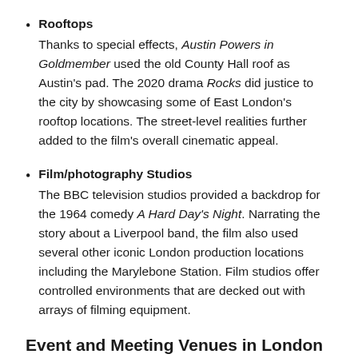Rooftops
Thanks to special effects, Austin Powers in Goldmember used the old County Hall roof as Austin's pad. The 2020 drama Rocks did justice to the city by showcasing some of East London's rooftop locations. The street-level realities further added to the film's overall cinematic appeal.
Film/photography Studios
The BBC television studios provided a backdrop for the 1964 comedy A Hard Day's Night. Narrating the story about a Liverpool band, the film also used several other iconic London production locations including the Marylebone Station. Film studios offer controlled environments that are decked out with arrays of filming equipment.
Event and Meeting Venues in London
London inspires fun but the city also means business. The